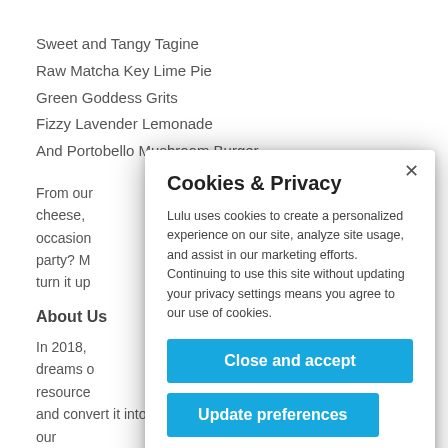Sweet and Tangy Tagine
Raw Matcha Key Lime Pie
Green Goddess Grits
Fizzy Lavender Lemonade
And Portobello Mushroom Burger
From our … mac and cheese, … every occasion … a dance party? M… pe and turn it up…
About Us
In 2018, … dreams o… cious resource… ol bus and convert it into our full time home! Shortly after we had our
Cookies & Privacy
Lulu uses cookies to create a personalized experience on our site, analyze site usage, and assist in our marketing efforts. Continuing to use this site without updating your privacy settings means you agree to our use of cookies.
Close and accept
Update preferences
Privacy Policy